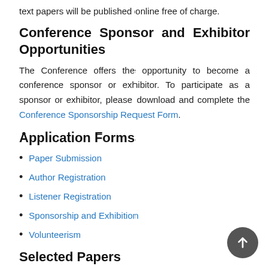text papers will be published online free of charge.
Conference Sponsor and Exhibitor Opportunities
The Conference offers the opportunity to become a conference sponsor or exhibitor. To participate as a sponsor or exhibitor, please download and complete the Conference Sponsorship Request Form.
Application Forms
Paper Submission
Author Registration
Listener Registration
Sponsorship and Exhibition
Volunteerism
Selected Papers
1 Paradigm of Digital Twin Application in Project